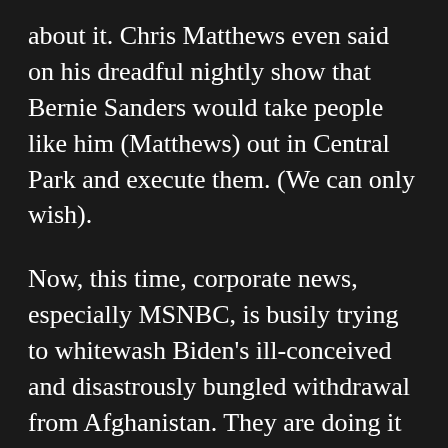about it. Chris Matthews even said on his dreadful nightly show that Bernie Sanders would take people like him (Matthews) out in Central Park and execute them. (We can only wish).
Now, this time, corporate news, especially MSNBC, is busily trying to whitewash Biden's ill-conceived and disastrously bungled withdrawal from Afghanistan. They are doing it for the same reason they worked to destroy Bernie Sanders – to promote and protect Joe Biden.
Since and he sa...